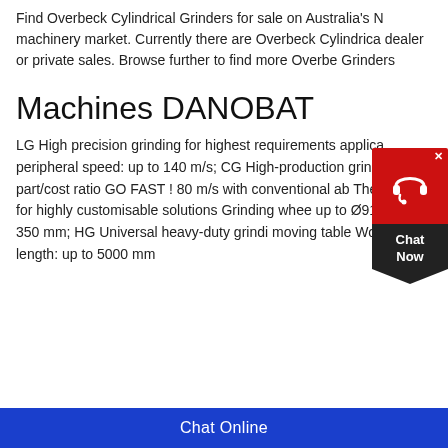Find Overbeck Cylindrical Grinders for sale on Australia's N machinery market. Currently there are Overbeck Cylindrica dealer or private sales. Browse further to find more Overbe Grinders
[Figure (illustration): Chat Now widget: red rounded box with headset icon and close button, dark pentagon-shaped label reading 'Chat Now']
Machines DANOBAT
LG High precision grinding for highest requirements applica peripheral speed: up to 140 m/s; CG High-production grindi Best part/cost ratio GO FAST ! 80 m/s with conventional ab The grinder for highly customisable solutions Grinding whee up to Ø910 mm x 350 mm; HG Universal heavy-duty grindi moving table Workpiece length: up to 5000 mm
Chat Online